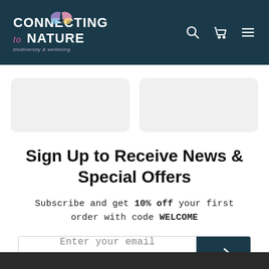Connecting to Nature — biodiversity & wellbeing — navigation bar with search, cart, and menu icons
[Figure (screenshot): Two grey placeholder product card images side by side]
Sign Up to Receive News & Special Offers
Subscribe and get 10% off your first order with code WELCOME
[Figure (screenshot): Email subscription input field with 'Enter your email' placeholder and a teal arrow submit button]